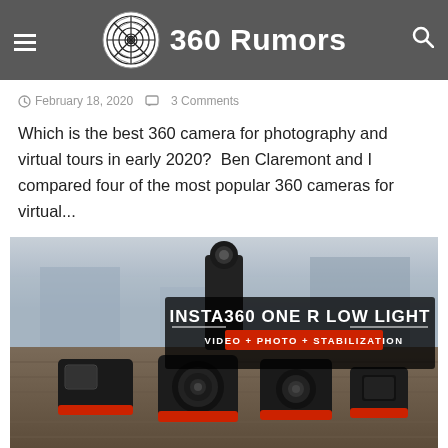360 Rumors
February 18, 2020   3 Comments
Which is the best 360 camera for photography and virtual tours in early 2020?  Ben Claremont and I compared four of the most popular 360 cameras for virtual...
[Figure (photo): Insta360 ONE R low light review photo showing multiple Insta360 ONE R camera configurations on a wooden surface, with text overlay: INSTA360 ONE R LOW LIGHT and VIDEO + PHOTO + STABILIZATION]